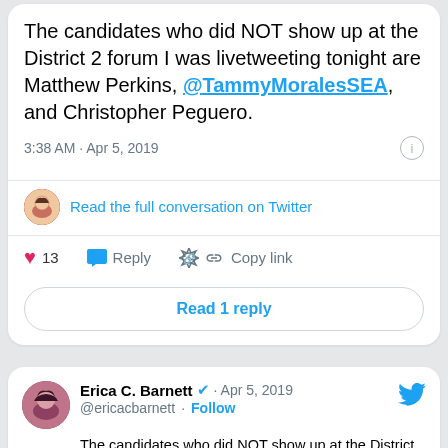The candidates who did NOT show up at the District 2 forum I was livetweeting tonight are Matthew Perkins, @TammyMoralesSEA, and Christopher Peguero.
3:38 AM · Apr 5, 2019
Read the full conversation on Twitter
13  Reply  Copy link
Read 1 reply
Erica C. Barnett · Apr 5, 2019
@ericacbarnett · Follow
The candidates who did NOT show up at the District 2 forum I was livetweeting tonight are Matthew Perkins, @TammyMoralesSEA, and Christopher Peguero.